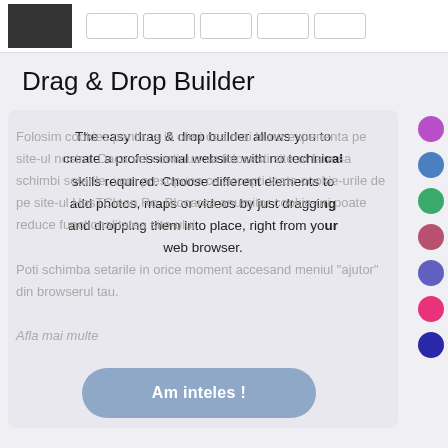[Figure (screenshot): Top toolbar with dark grid icon and several empty rectangular boxes]
Drag & Drop Builder
The easy drag & drop builder allows you to create a professional website with no technical skills required. Choose different elements to add photos, maps or videos by just dragging and dropping them into place, right from your web browser.
Folosim cookies pentru a iti oferi cea mai buna experienta pe site-ul nostru. Daca vei continua sa folosesti site-ul fara sa schimbi setarile, vom presupune ca accepti toate cookie-urile de pe site-ul HosTClean.Ro. Blocarea anumitor cookie-uri poate reduce functionalitatea site-ului. Poti schimba setarile in orice moment accesand meniul "ajutor" din browserul tau.
Afla mai multe
Am inteles !